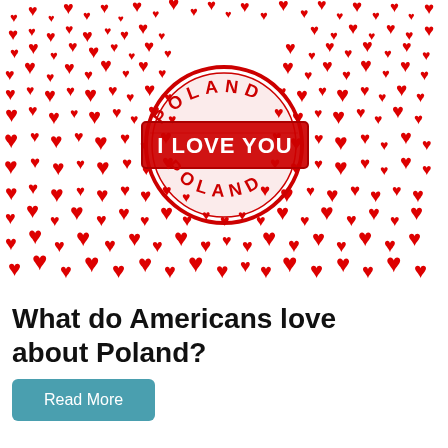[Figure (illustration): An illustration of a white square/Poland map shape bordered by many small red hearts on a white background, with a red circular rubber stamp in the center reading 'POLAND I LOVE YOU POLAND']
What do Americans love about Poland?
Read More